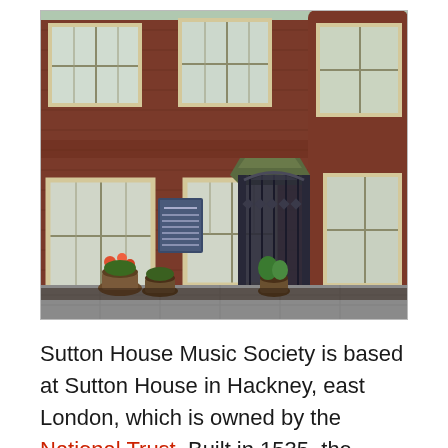[Figure (photo): Photograph of Sutton House, a red brick building with white-framed windows, a black ornate iron gate entrance with a canopy roof, flower pots in front, and a blue plaque on the wall to the left of the entrance.]
Sutton House Music Society is based at Sutton House in Hackney, east London, which is owned by the National Trust. Built in 1535, the